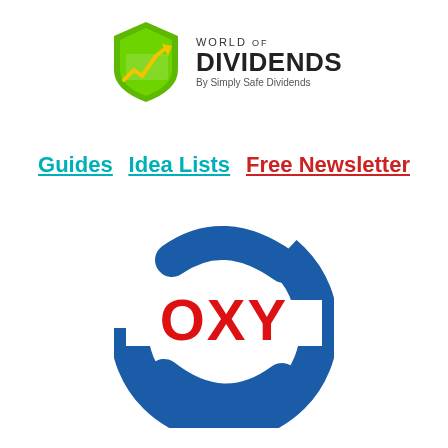[Figure (logo): World of Dividends logo - green shield with yellow arrow and chart line, bold text WORLD OF DIVIDENDS, subtitle By Simply Safe Dividends]
Guides  Idea Lists  Free Newsletter
[Figure (logo): OXY (Occidental Petroleum) logo - blue circular swoosh design with red OXY text in the center]